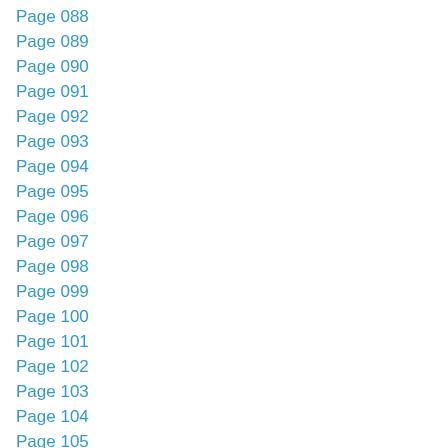Page 088
Page 089
Page 090
Page 091
Page 092
Page 093
Page 094
Page 095
Page 096
Page 097
Page 098
Page 099
Page 100
Page 101
Page 102
Page 103
Page 104
Page 105
Page 106
Page 107